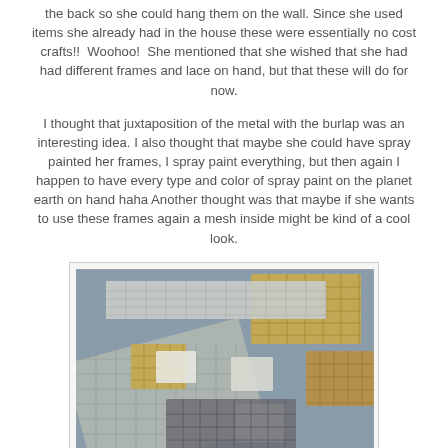the back so she could hang them on the wall. Since she used items she already had in the house these were essentially no cost crafts!!  Woohoo!  She mentioned that she wished that she had had different frames and lace on hand, but that these will do for now.
I thought that juxtaposition of the metal with the burlap was an interesting idea. I also thought that maybe she could have spray painted her frames, I spray paint everything, but then again I happen to have every type and color of spray paint on the planet earth on hand haha Another thought was that maybe if she wants to use these frames again a mesh inside might be kind of a cool look.
[Figure (photo): Photo of various metal mesh/wire mesh samples in different sizes, weave patterns, and colors (silver, gold/brass tones) arranged overlapping on a surface.]